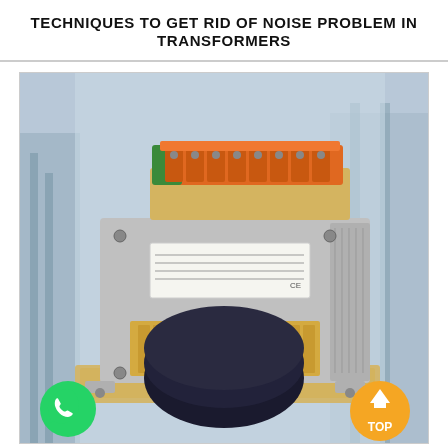TECHNIQUES TO GET RID OF NOISE PROBLEM IN TRANSFORMERS
[Figure (photo): A close-up photograph of an industrial transformer unit with a metal enclosure, orange and green terminal blocks on top, gold-colored windings visible at the bottom, mounted on a base plate with screws at the corners. Background shows a blurred industrial/substation scene. Overlaid with a WhatsApp contact button (green circle, bottom-left) and a 'TOP' navigation button (orange circle, bottom-right).]